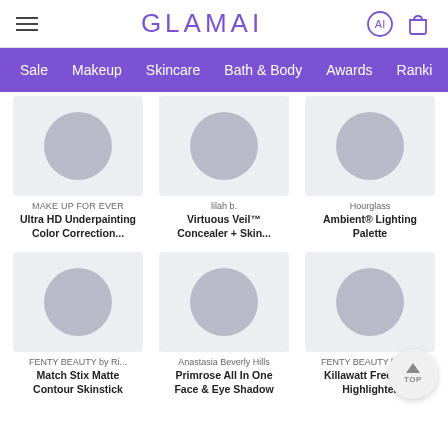GLAMAI
Sale  Makeup  Skincare  Bath & Body  Awards  Ranki...
[Figure (photo): Product card: MAKE UP FOR EVER - Ultra HD Underpainting Color Correction... with placeholder product image circle on gray background]
MAKE UP FOR EVER
Ultra HD Underpainting Color Correction...
[Figure (photo): Product card: lilah b. - Virtuous Veil™ Concealer + Skin... with placeholder product image circle on gray background]
lilah b.
Virtuous Veil™ Concealer + Skin...
[Figure (photo): Product card: Hourglass - Ambient® Lighting Palette with placeholder product image circle on gray background]
Hourglass
Ambient® Lighting Palette
[Figure (photo): Product card: FENTY BEAUTY by Ri... - Match Stix Matte Contour Skinstick with placeholder product image circle on gray background]
FENTY BEAUTY by Ri...
Match Stix Matte Contour Skinstick
[Figure (photo): Product card: Anastasia Beverly Hills - Primrose All In One Face & Eye Shadow with placeholder product image circle on gray background]
Anastasia Beverly Hills
Primrose All In One Face & Eye Shadow
[Figure (photo): Product card: FENTY BEAUTY by Ri... - Killawatt Freestyle Highlighter with placeholder product image circle on gray background]
FENTY BEAUTY by Ri...
Killawatt Freestyle Highlighter